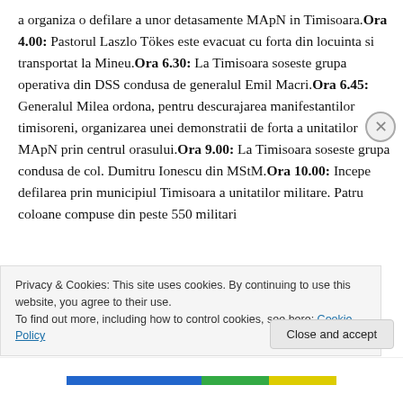a organiza o defilare a unor detasamente MApN in Timisoara. Ora 4.00: Pastorul Laszlo Tökes este evacuat cu forta din locuinta si transportat la Mineu. Ora 6.30: La Timisoara soseste grupa operativa din DSS condusa de generalul Emil Macri. Ora 6.45: Generalul Milea ordona, pentru descurajarea manifestantilor timisoreni, organizarea unei demonstratii de forta a unitatilor MApN prin centrul orasului. Ora 9.00: La Timisoara soseste grupa condusa de col. Dumitru Ionescu din MStM. Ora 10.00: Incepe defilarea prin municipiul Timisoara a unitatilor militare. Patru coloane compuse din peste 550 militari
Privacy & Cookies: This site uses cookies. By continuing to use this website, you agree to their use. To find out more, including how to control cookies, see here: Cookie Policy